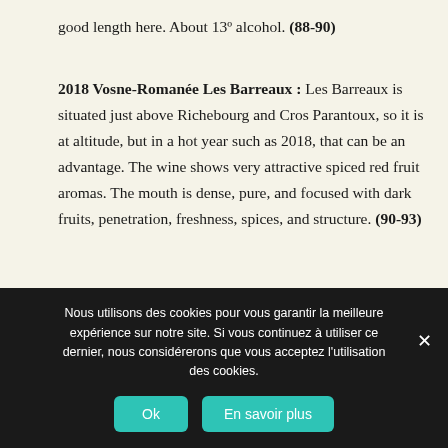good length here. About 13º alcohol. (88-90)
2018 Vosne-Romanée Les Barreaux : Les Barreaux is situated just above Richebourg and Cros Parantoux, so it is at altitude, but in a hot year such as 2018, that can be an advantage. The wine shows very attractive spiced red fruit aromas. The mouth is dense, pure, and focused with dark fruits, penetration, freshness, spices, and structure. (90-93)
Nous utilisons des cookies pour vous garantir la meilleure expérience sur notre site. Si vous continuez à utiliser ce dernier, nous considérerons que vous acceptez l'utilisation des cookies.